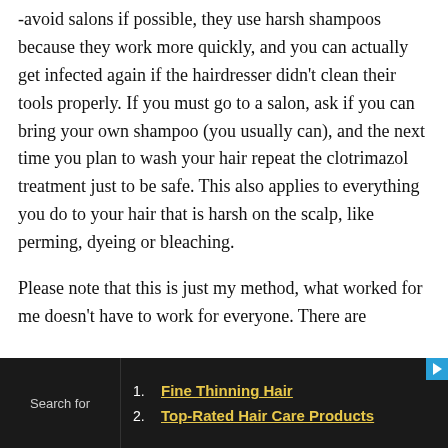-avoid salons if possible, they use harsh shampoos because they work more quickly, and you can actually get infected again if the hairdresser didn't clean their tools properly. If you must go to a salon, ask if you can bring your own shampoo (you usually can), and the next time you plan to wash your hair repeat the clotrimazol treatment just to be safe. This also applies to everything you do to your hair that is harsh on the scalp, like perming, dyeing or bleaching.
Please note that this is just my method, what worked for me doesn't have to work for everyone. There are
[Figure (screenshot): Dark advertisement bar at the bottom with 'Search for' label on the left and two yellow-linked items: 1. Fine Thinning Hair, 2. Top-Rated Hair Care Products]